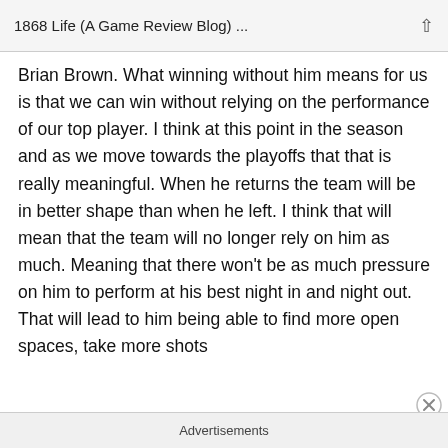1868 Life (A Game Review Blog) ...
Brian Brown. What winning without him means for us is that we can win without relying on the performance of our top player. I think at this point in the season and as we move towards the playoffs that that is really meaningful. When he returns the team will be in better shape than when he left. I think that will mean that the team will no longer rely on him as much. Meaning that there won't be as much pressure on him to perform at his best night in and night out. That will lead to him being able to find more open spaces, take more shots
Advertisements